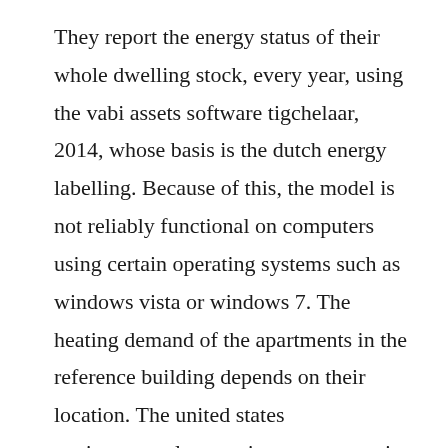They report the energy status of their whole dwelling stock, every year, using the vabi assets software tigchelaar, 2014, whose basis is the dutch energy labelling. Because of this, the model is not reliably functional on computers using certain operating systems such as windows vista or windows 7. The heating demand of the apartments in the reference building depends on their location. The united states environmental protection agency epa is the lead agency for the libby asbestos superfund site. The federal